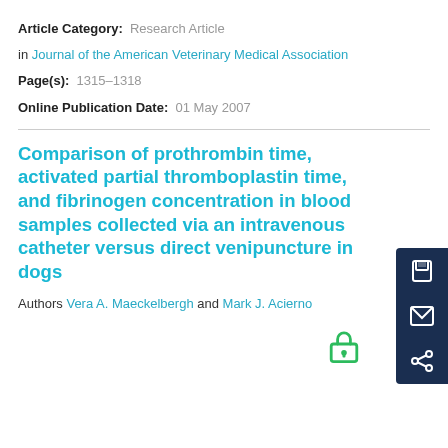Article Category: Research Article
in Journal of the American Veterinary Medical Association
Page(s): 1315–1318
Online Publication Date: 01 May 2007
Comparison of prothrombin time, activated partial thromboplastin time, and fibrinogen concentration in blood samples collected via an intravenous catheter versus direct venipuncture in dogs
Authors Vera A. Maeckelbergh and Mark J. Acierno